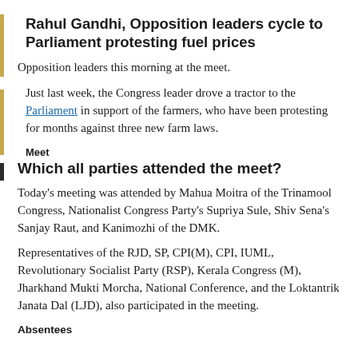Rahul Gandhi, Opposition leaders cycle to Parliament protesting fuel prices
Opposition leaders this morning at the meet.
Just last week, the Congress leader drove a tractor to the Parliament in support of the farmers, who have been protesting for months against three new farm laws.
Meet
Which all parties attended the meet?
Today's meeting was attended by Mahua Moitra of the Trinamool Congress, Nationalist Congress Party's Supriya Sule, Shiv Sena's Sanjay Raut, and Kanimozhi of the DMK.
Representatives of the RJD, SP, CPI(M), CPI, IUML, Revolutionary Socialist Party (RSP), Kerala Congress (M), Jharkhand Mukti Morcha, National Conference, and the Loktantrik Janata Dal (LJD), also participated in the meeting.
Absentees